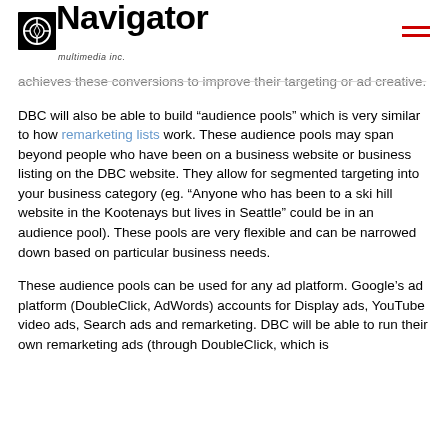Navigator multimedia inc.
achieves these conversions to improve their targeting or ad creative.
DBC will also be able to build “aucience pools” which is very similar to how remarketing lists work. These audience pools may span beyond people who have been on a business website or business listing on the DBC website. They allow for segmented targeting into your business category (eg. “Anyone who has been to a ski hill website in the Kootenays but lives in Seattle” could be in an audience pool). These pools are very flexible and can be narrowed down based on particular business needs.
These audience pools can be used for any ad platform. Google’s ad platform (DoubleClick, AdWords) accounts for Display ads, YouTube video ads, Search ads and remarketing. DBC will be able to run their own remarketing ads (through DoubleClick, which is